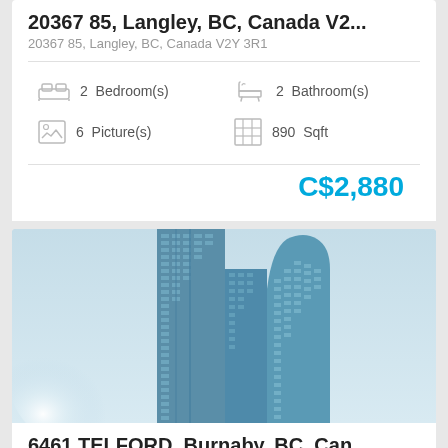20367 85, Langley, BC, Canada V2...
20367 85, Langley, BC, Canada V2Y 3R1
2 Bedroom(s)
2 Bathroom(s)
6 Picture(s)
890 Sqft
C$2,880
[Figure (photo): Exterior photo of a tall modern glass skyscraper in Burnaby, BC, photographed from below against a light blue sky]
6461 TELFORD, Burnaby, BC, Can...